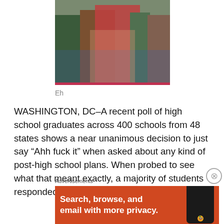[Figure (photo): Group of high school students standing together, one in a red plaid shirt holding papers]
Eh
WASHINGTON, DC–A recent poll of high school graduates across 400 schools from 48 states shows a near unanimous decision to just say “Ahh fuck it” when asked about any kind of post-high school plans. When probed to see what that meant exactly, a majority of students responded, “I dunno, whatever.”
Advertisements
[Figure (screenshot): DuckDuckGo advertisement: orange background with white bold text 'Search, browse, and email with more privacy.' and a phone graphic]